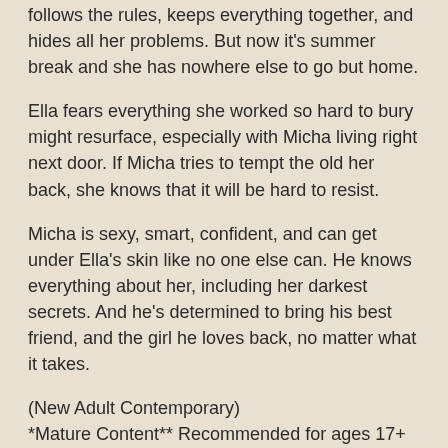follows the rules, keeps everything together, and hides all her problems. But now it's summer break and she has nowhere else to go but home.
Ella fears everything she worked so hard to bury might resurface, especially with Micha living right next door. If Micha tries to tempt the old her back, she knows that it will be hard to resist.
Micha is sexy, smart, confident, and can get under Ella's skin like no one else can. He knows everything about her, including her darkest secrets. And he's determined to bring his best friend, and the girl he loves back, no matter what it takes.
(New Adult Contemporary)
*Mature Content** Recommended for ages 17+ due to sexual situations and language.
Review:
Jessica Sorensen has become one of my favorite authors and this